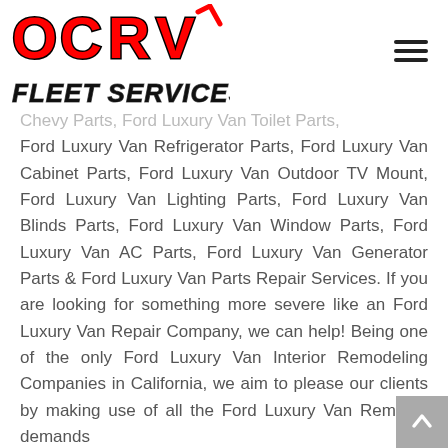OCRV FLEET SERVICES logo with hamburger menu
Chevy Parts, Ford Luxury Van Toilet Parts, Ford Luxury Van Refrigerator Parts, Ford Luxury Van Cabinet Parts, Ford Luxury Van Outdoor TV Mount, Ford Luxury Van Lighting Parts, Ford Luxury Van Blinds Parts, Ford Luxury Van Window Parts, Ford Luxury Van AC Parts, Ford Luxury Van Generator Parts & Ford Luxury Van Parts Repair Services. If you are looking for something more severe like an Ford Luxury Van Repair Company, we can help! Being one of the only Ford Luxury Van Interior Remodeling Companies in California, we aim to please our clients by making use of all the Ford Luxury Van Remodel demands